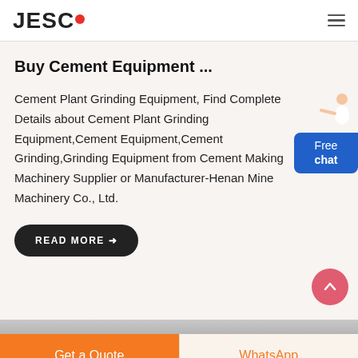JESCO
Buy Cement Equipment ...
Cement Plant Grinding Equipment, Find Complete Details about Cement Plant Grinding Equipment,Cement Equipment,Cement Grinding,Grinding Equipment from Cement Making Machinery Supplier or Manufacturer-Henan Mine Machinery Co., Ltd.
READ MORE →
[Figure (screenshot): Free chat widget with customer service representative figure and blue bubble showing 'Free chat']
[Figure (illustration): Scroll-to-top button (coral/pink circle with upward chevron arrow)]
Get a Quote | WhatsApp